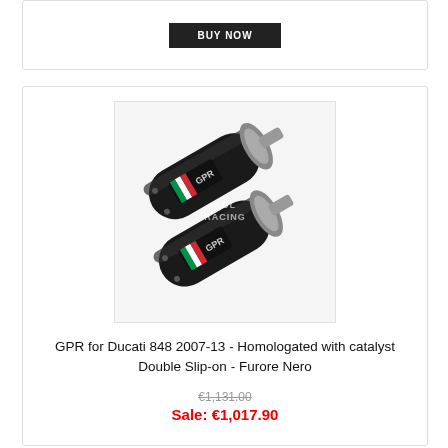[Figure (other): BUY NOW button (dark/black background with white text)]
[Figure (photo): GPR Furore Nero double slip-on exhaust mufflers for Ducati 848, matte black cylindrical cans with Italian flag detail and GPR logo, shown as a pair angled to the right]
GPR for Ducati 848 2007-13 - Homologated with catalyst Double Slip-on - Furore Nero
€1,131.00
Sale: €1,017.90